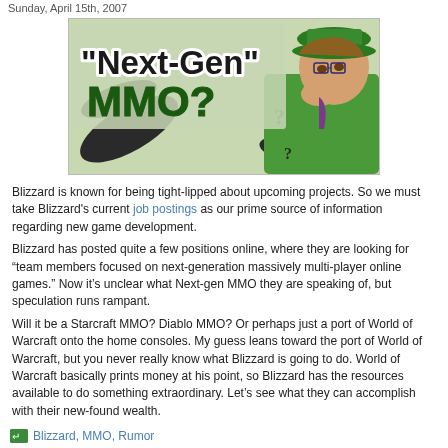Sunday, April 15th, 2007
[Figure (illustration): Blog post header image showing comic-book style Riddler character in green hat and suit with question marks, with text '"Next-Gen" MMO?' overlaid in comic book font]
Blizzard is known for being tight-lipped about upcoming projects. So we must take Blizzard's current job postings as our prime source of information regarding new game development.
Blizzard has posted quite a few positions online, where they are looking for “team members focused on next-generation massively multi-player online games.” Now it’s unclear what Next-gen MMO they are speaking of, but speculation runs rampant.
Will it be a Starcraft MMO? Diablo MMO? Or perhaps just a port of World of Warcraft onto the home consoles. My guess leans toward the port of World of Warcraft, but you never really know what Blizzard is going to do. World of Warcraft basically prints money at his point, so Blizzard has the resources available to do something extraordinary. Let’s see what they can accomplish with their new-found wealth.
Blizzard, MMO, Rumor
Posted in Mill of Rumour | 1 Comment »